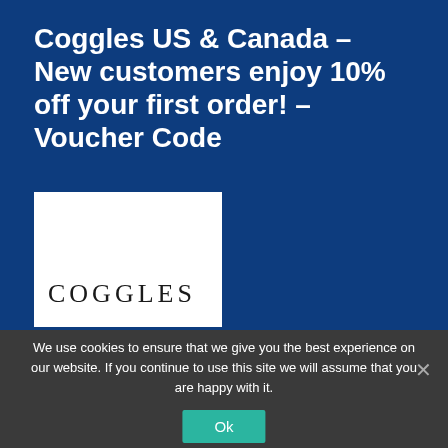Coggles US & Canada – New customers enjoy 10% off your first order! – Voucher Code
[Figure (logo): White rectangle containing the COGGLES brand logo in spaced serif letters]
We use cookies to ensure that we give you the best experience on our website. If you continue to use this site we will assume that you are happy with it.